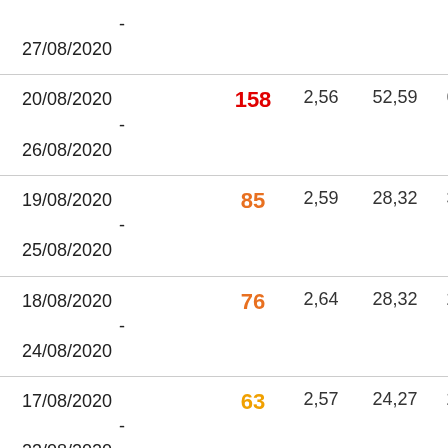| Date | Value | Col3 | Col4 | Col5 |
| --- | --- | --- | --- | --- |
| -
27/08/2020 |  |  |  |  |
| 20/08/2020 - 26/08/2020 | 158 | 2,56 | 52,59 | 60,68 |
| 19/08/2020 - 25/08/2020 | 85 | 2,59 | 28,32 | 32,37 |
| 18/08/2020 - 24/08/2020 | 76 | 2,64 | 28,32 | 28,32 |
| 17/08/2020 - 23/08/2020 | 63 | 2,57 | 24,27 | 24,27 |